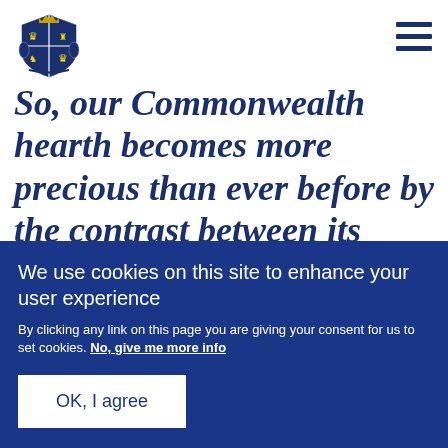[Figure (logo): UK Royal coat of arms / Crown logo in dark blue]
So, our Commonwealth hearth becomes more precious than ever before by the contrast between its homely security and the storm
We use cookies on this site to enhance your user experience
By clicking any link on this page you are giving your consent for us to set cookies. No, give me more info
OK, I agree